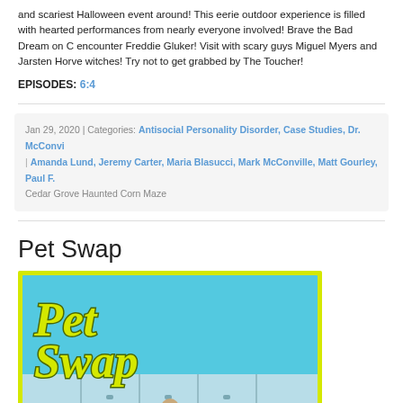and scariest Halloween event around! This eerie outdoor experience is filled with hearted performances from nearly everyone involved! Brave the Bad Dream on C encounter Freddie Gluker! Visit with scary guys Miguel Myers and Jarsten Horve witches! Try not to get grabbed by The Toucher!
EPISODES: 6:4
Jan 29, 2020 | Categories: Antisocial Personality Disorder, Case Studies, Dr. McConvi Amanda Lund, Jeremy Carter, Maria Blasucci, Mark McConville, Matt Gourley, Paul F. Cedar Grove Haunted Corn Maze
Pet Swap
[Figure (illustration): Pet Swap logo image with yellow-green border on cyan/light blue background, featuring stylized 'Pet Swap' text in yellow-green curly font with dark outline. Bottom portion shows lockers and partial figure.]